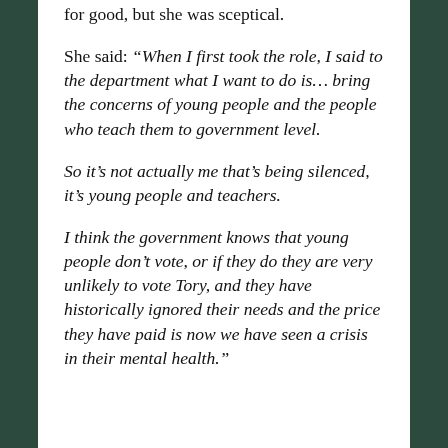for good, but she was sceptical.
She said: “When I first took the role, I said to the department what I want to do is… bring the concerns of young people and the people who teach them to government level.
So it’s not actually me that’s being silenced, it’s young people and teachers.
I think the government knows that young people don’t vote, or if they do they are very unlikely to vote Tory, and they have historically ignored their needs and the price they have paid is now we have seen a crisis in their mental health.”